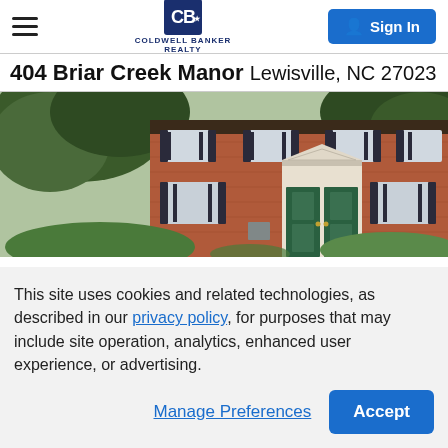Coldwell Banker Realty — Sign In
404 Briar Creek Manor Lewisville, NC 27023
[Figure (photo): Exterior photo of a two-story brick townhouse at 404 Briar Creek Manor, Lewisville NC, with green front doors, black shutters, and mature trees in the foreground.]
This site uses cookies and related technologies, as described in our privacy policy, for purposes that may include site operation, analytics, enhanced user experience, or advertising.
Manage Preferences  Accept